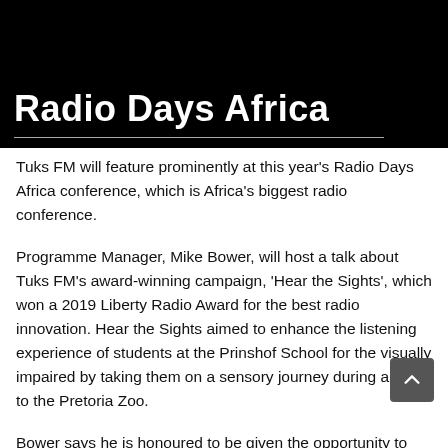[Figure (logo): Radio Days Africa banner with bold white text on black background and a horizontal white line beneath the title]
Tuks FM will feature prominently at this year's Radio Days Africa conference, which is Africa's biggest radio conference.
Programme Manager, Mike Bower, will host a talk about Tuks FM's award-winning campaign, 'Hear the Sights', which won a 2019 Liberty Radio Award for the best radio innovation. Hear the Sights aimed to enhance the listening experience of students at the Prinshof School for the visually impaired by taking them on a sensory journey during a visit to the Pretoria Zoo.
Bower says he is honoured to be given the opportunity to speak